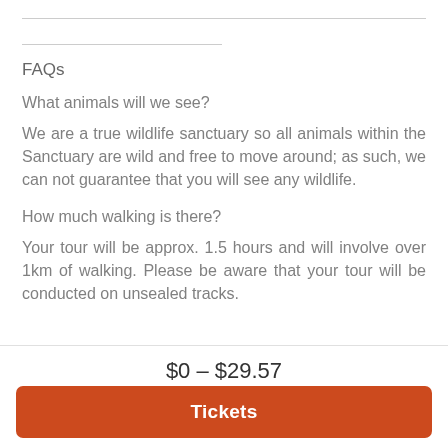FAQs
What animals will we see?
We are a true wildlife sanctuary so all animals within the Sanctuary are wild and free to move around; as such, we can not guarantee that you will see any wildlife.
How much walking is there?
Your tour will be approx. 1.5 hours and will involve over 1km of walking. Please be aware that your tour will be conducted on unsealed tracks.
$0 – $29.57
Tickets